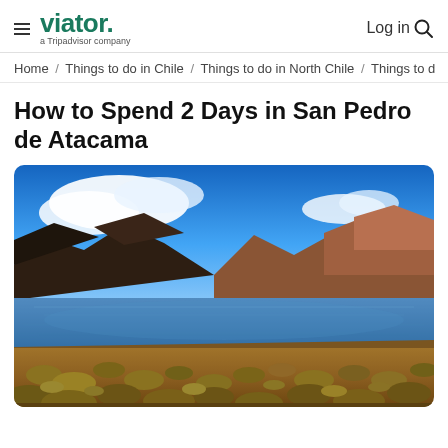viator. a Tripadvisor company | Log in
Home / Things to do in Chile / Things to do in North Chile / Things to d
How to Spend 2 Days in San Pedro de Atacama
[Figure (photo): Scenic landscape photo of San Pedro de Atacama, Chile, showing a high-altitude lake reflecting dark mountains under a deep blue sky with white clouds, with dry golden grassland in the foreground.]